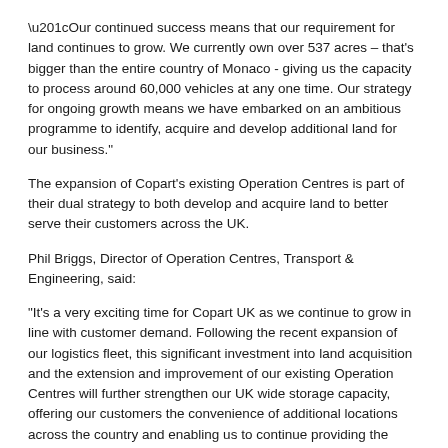“Our continued success means that our requirement for land continues to grow. We currently own over 537 acres – that’s bigger than the entire country of Monaco - giving us the capacity to process around 60,000 vehicles at any one time. Our strategy for ongoing growth means we have embarked on an ambitious programme to identify, acquire and develop additional land for our business.”
The expansion of Copart’s existing Operation Centres is part of their dual strategy to both develop and acquire land to better serve their customers across the UK.
Phil Briggs, Director of Operation Centres, Transport & Engineering, said:
“It’s a very exciting time for Copart UK as we continue to grow in line with customer demand. Following the recent expansion of our logistics fleet, this significant investment into land acquisition and the extension and improvement of our existing Operation Centres will further strengthen our UK wide storage capacity, offering our customers the convenience of additional locations across the country and enabling us to continue providing the industry leading service they have come to expect.”